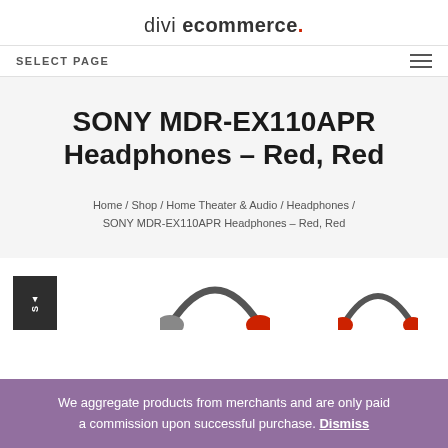divi ecommerce.
SELECT PAGE
SONY MDR-EX110APR Headphones – Red, Red
Home / Shop / Home Theater & Audio / Headphones / SONY MDR-EX110APR Headphones – Red, Red
[Figure (photo): Partial view of Sony MDR-EX110APR headphones in red and dark gray colors at bottom of page]
We aggregate products from merchants and are only paid a commission upon successful purchase. Dismiss